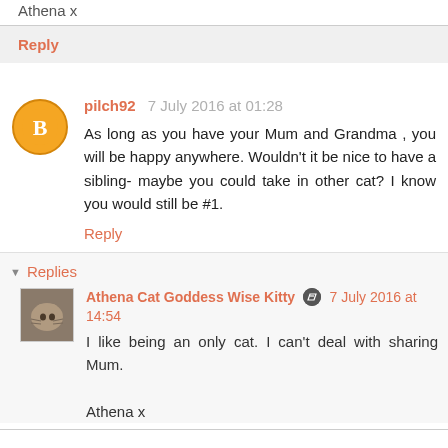Athena x
Reply
pilch92  7 July 2016 at 01:28
As long as you have your Mum and Grandma , you will be happy anywhere. Wouldn't it be nice to have a sibling- maybe you could take in other cat? I know you would still be #1.
Reply
Replies
Athena Cat Goddess Wise Kitty  7 July 2016 at 14:54
I like being an only cat. I can't deal with sharing Mum.

Athena x